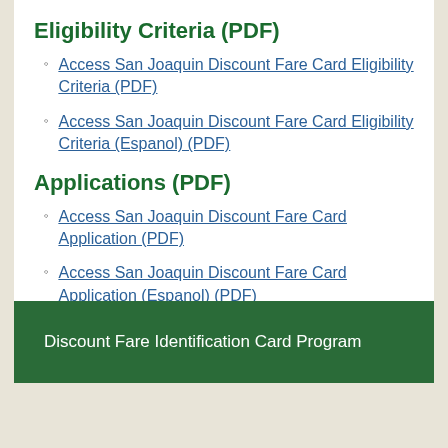Eligibility Criteria (PDF)
Access San Joaquin Discount Fare Card Eligibility Criteria (PDF)
Access San Joaquin Discount Fare Card Eligibility Criteria (Espanol) (PDF)
Applications (PDF)
Access San Joaquin Discount Fare Card Application (PDF)
Access San Joaquin Discount Fare Card Application (Espanol) (PDF)
Discount Fare Identification Card Program